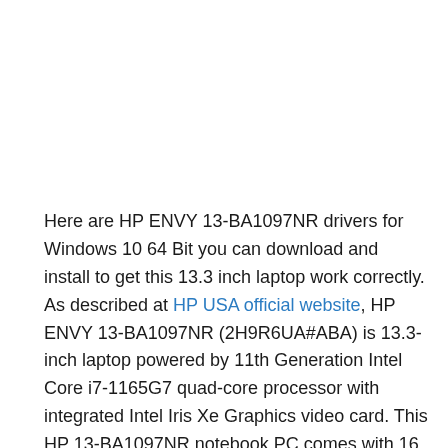Here are HP ENVY 13-BA1097NR drivers for Windows 10 64 Bit you can download and install to get this 13.3 inch laptop work correctly.
As described at HP USA official website, HP ENVY 13-BA1097NR (2H9R6UA#ABA) is 13.3-inch laptop powered by 11th Generation Intel Core i7-1165G7 quad-core processor with integrated Intel Iris Xe Graphics video card. This HP 13-BA1097NR notebook PC comes with 16 GB DDR4-2666 SDRAM onboard memory and 256 GB PCIe NVMe M.2 SSD solid state drive to store files, video, music and other documents.
This portable mobile computer comes with 13.3-inches